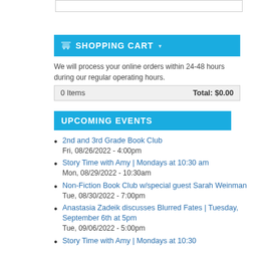SHOPPING CART
We will process your online orders within 24-48 hours during our regular operating hours.
| 0 Items | Total: $0.00 |
| --- | --- |
UPCOMING EVENTS
2nd and 3rd Grade Book Club
Fri, 08/26/2022 - 4:00pm
Story Time with Amy | Mondays at 10:30 am
Mon, 08/29/2022 - 10:30am
Non-Fiction Book Club w/special guest Sarah Weinman
Tue, 08/30/2022 - 7:00pm
Anastasia Zadeik discusses Blurred Fates | Tuesday, September 6th at 5pm
Tue, 09/06/2022 - 5:00pm
Story Time with Amy | Mondays at 10:30